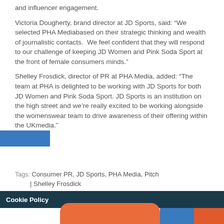and influencer engagement.
Victoria Dougherty, brand director at JD Sports, said: “We selected PHA Mediabased on their strategic thinking and wealth of journalistic contacts.  We feel confident that they will respond to our challenge of keeping JD Women and Pink Soda Sport at the front of female consumers minds.”
Shelley Frosdick, director of PR at PHA Media, added: “The team at PHA is delighted to be working with JD Sports for both JD Women and Pink Soda Sport. JD Sports is an institution on the high street and we’re really excited to be working alongside the womenswear team to drive awareness of their offering within the UKmedia.”
Tags: Consumer PR, JD Sports, PHA Media, Pitch | Shelley Frosdick